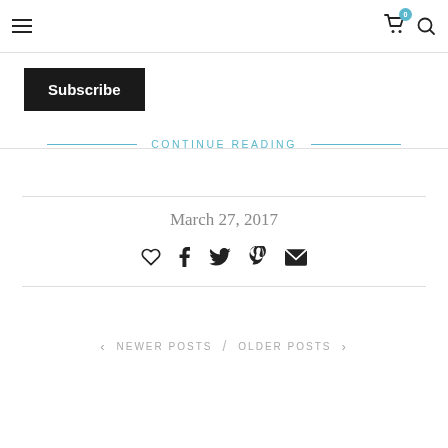Navigation bar with hamburger menu, cart icon (badge: 0), and search icon
Subscribe
CONTINUE READING
March 27, 2017
[Figure (other): Social share icons: heart, facebook, twitter, pinterest, email]
< NEWER POSTS / OLDER POSTS >